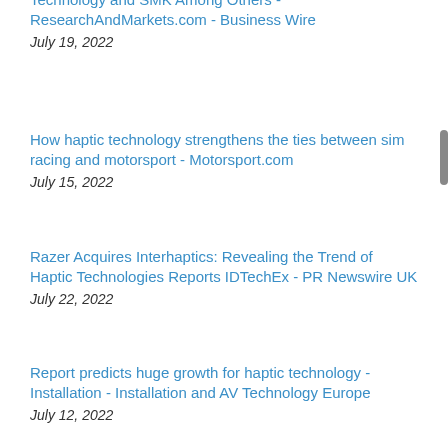Technology and SMK Among Others - ResearchAndMarkets.com - Business Wire
July 19, 2022
How haptic technology strengthens the ties between sim racing and motorsport - Motorsport.com
July 15, 2022
Razer Acquires Interhaptics: Revealing the Trend of Haptic Technologies Reports IDTechEx - PR Newswire UK
July 22, 2022
Report predicts huge growth for haptic technology - Installation - Installation and AV Technology Europe
July 12, 2022